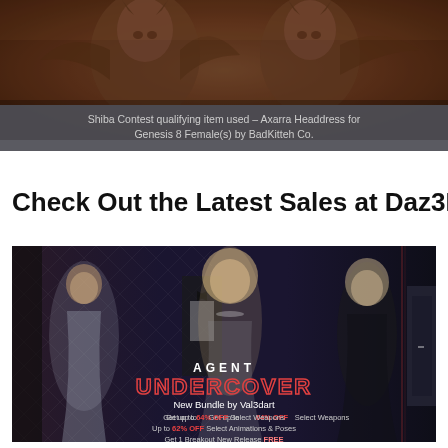[Figure (illustration): Dark fantasy rendered image showing armored demon/monster figures with horns against a brown-reddish background]
Shiba Contest qualifying item used – Axarra Headdress for Genesis 8 Female(s) by BadKitteh Co.
Check Out the Latest Sales at Daz3D
[Figure (infographic): Agent Undercover promotional banner for Daz3D featuring three female figures in elegant outfits. Text: AGENT UNDERCOVER, New Bundle by Val3dart. Get up to 64% OFF Select Weapons. Up to 62% OFF Select Animations & Poses. Get 1 Breakout New Release FREE]